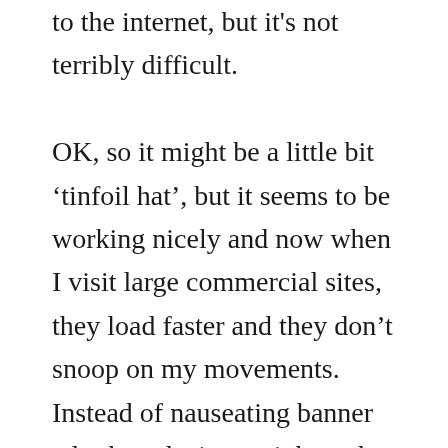to the internet, but it's not terribly difficult. OK, so it might be a little bit 'tinfoil hat', but it seems to be working nicely and now when I visit large commercial sites, they load faster and they don't snoop on my movements. Instead of nauseating banner ads about losing weight and dental work, I get nice empty space. Combined with the FlashBlocker plugin the effect is really quite excellent!